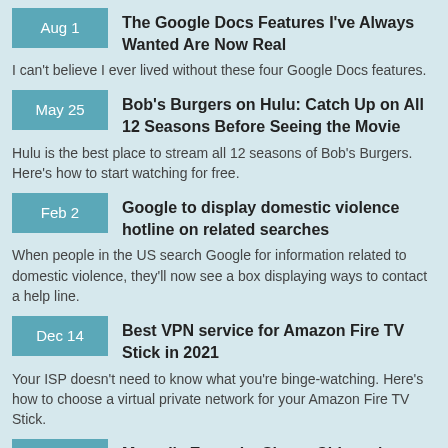Aug 1 | The Google Docs Features I've Always Wanted Are Now Real | I can't believe I ever lived without these four Google Docs features.
May 25 | Bob's Burgers on Hulu: Catch Up on All 12 Seasons Before Seeing the Movie | Hulu is the best place to stream all 12 seasons of Bob's Burgers. Here's how to start watching for free.
Feb 2 | Google to display domestic violence hotline on related searches | When people in the US search Google for information related to domestic violence, they'll now see a box displaying ways to contact a help line.
Dec 14 | Best VPN service for Amazon Fire TV Stick in 2021 | Your ISP doesn't need to know what you're binge-watching. Here's how to choose a virtual private network for your Amazon Fire TV Stick.
Nov 4 | Marvel's Eternals, Shang-Chi won't stream on Disney Plus this weekend, sorry | But Shang-Chi will be available on Disney Plus not long after.
Best VPN service of 2021 (partial, cut off)